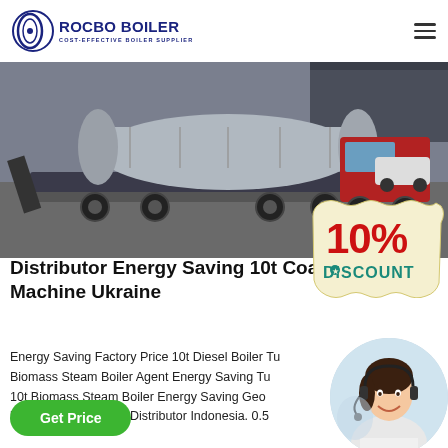ROCBO BOILER — COST-EFFECTIVE BOILER SUPPLIER
[Figure (photo): Industrial boiler on a flatbed truck trailer in a port/warehouse yard, with a red truck and other vehicles in background]
[Figure (infographic): 10% DISCOUNT badge in red and teal text on a cream/yellow coupon-style label]
Distributor Energy Saving 10t Coal Machine Ukraine
Energy Saving Factory Price 10t Diesel Boiler Tu... Biomass Steam Boiler Agent Energy Saving Tu... 10t Biomass Steam Boiler Energy Saving Geo... boiler High Efficiency Distributor Indonesia. 0.5...
[Figure (photo): Customer service woman wearing headset, smiling, cropped in circle]
Get Price